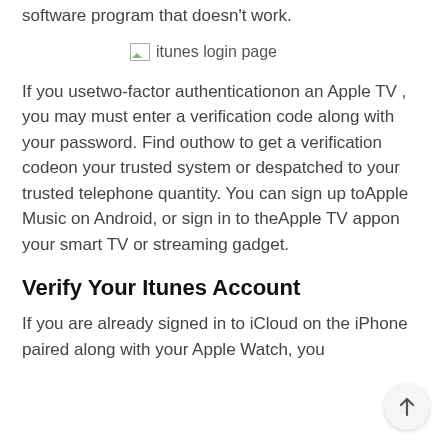software program that doesn't work.
[Figure (screenshot): itunes login page placeholder image]
If you usetwo-factor authenticationon an Apple TV , you may must enter a verification code along with your password. Find outhow to get a verification codeon your trusted system or despatched to your trusted telephone quantity. You can sign up toApple Music on Android, or sign in to theApple TV appon your smart TV or streaming gadget.
Verify Your Itunes Account
If you are already signed in to iCloud on the iPhone paired along with your Apple Watch, you